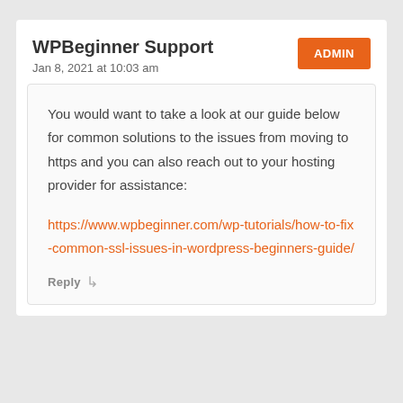WPBeginner Support
Jan 8, 2021 at 10:03 am
You would want to take a look at our guide below for common solutions to the issues from moving to https and you can also reach out to your hosting provider for assistance:
https://www.wpbeginner.com/wp-tutorials/how-to-fix-common-ssl-issues-in-wordpress-beginners-guide/
Reply